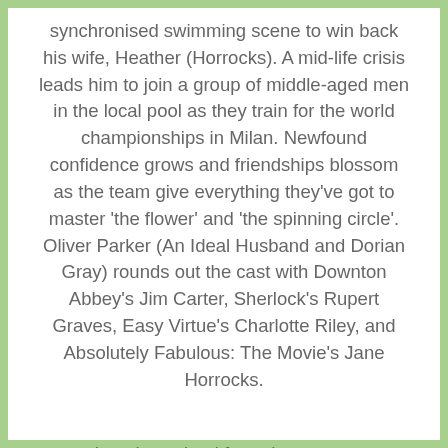synchronised swimming scene to win back his wife, Heather (Horrocks). A mid-life crisis leads him to join a group of middle-aged men in the local pool as they train for the world championships in Milan. Newfound confidence grows and friendships blossom as the team give everything they've got to master 'the flower' and 'the spinning circle'. Oliver Parker (An Ideal Husband and Dorian Gray) rounds out the cast with Downton Abbey's Jim Carter, Sherlock's Rupert Graves, Easy Virtue's Charlotte Riley, and Absolutely Fabulous: The Movie's Jane Horrocks.
Laugh-out-loud from the get go.
Director: Oliver Parker